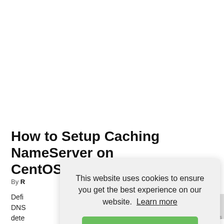[Figure (screenshot): DNS badge/label in red background with white text 'DNS']
How to Setup Caching NameServer on CentOS/RHEL 6/5
By R
Defi DNS dete
This website uses cookies to ensure you get the best experience on our website. Learn more
Got it!